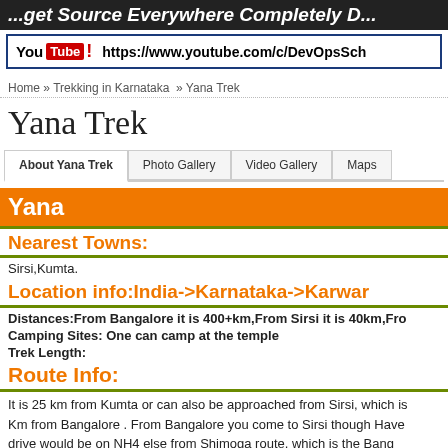...get Source Everywhere Completely D...
[Figure (screenshot): YouTube logo and URL bar showing https://www.youtube.com/c/DevOpsSch]
Home » Trekking in Karnataka » Yana Trek
Yana Trek
About Yana Trek | Photo Gallery | Video Gallery | Maps
Yana
Nearest Towns:
Sirsi,Kumta.
Location info:India->Karnataka->Karwar
Distances:From Bangalore it is 400+km,From Sirsi it is 40km,Fro...
Camping Sites: One can camp at the temple
Trek Length:
Route Info:
It is 25 km from Kumta or can also be approached from Sirsi, which is ... Km from Bangalore . From Bangalore you come to Sirsi though Have... drive would be on NH4 else from Shimoga route, which is the Bang... are avialable from Kumta and Sirsi. Enquire with the Jeep guys if...